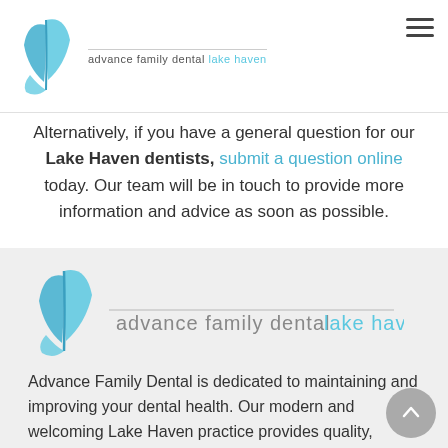advance family dental lake haven
Alternatively, if you have a general question for our Lake Haven dentists, submit a question online today. Our team will be in touch to provide more information and advice as soon as possible.
[Figure (logo): Advance Family Dental Lake Haven logo — blue stylized leaf/feather mark with text 'advance family dental lake haven']
Advance Family Dental is dedicated to maintaining and improving your dental health. Our modern and welcoming Lake Haven practice provides quality,